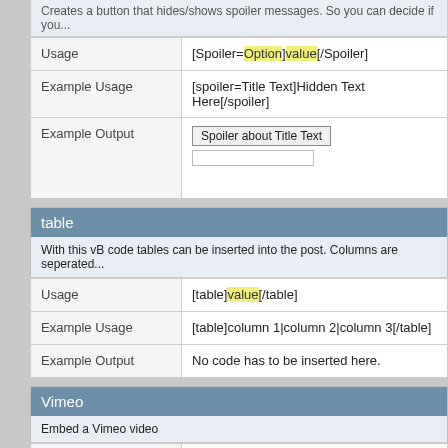Creates a button that hides/shows spoiler messages. So you can decide if you...
|  |  |
| --- | --- |
| Usage | [Spoiler=Option]value[/Spoiler] |
| Example Usage | [spoiler=Title Text]Hidden Text Here[/spoiler] |
| Example Output | Spoiler about Title Text [button] [input] |
table
With this vB code tables can be inserted into the post. Columns are seperated...
|  |  |
| --- | --- |
| Usage | [table]value[/table] |
| Example Usage | [table]column 1|column 2|column 3[/table] |
| Example Output | No code has to be inserted here. |
Vimeo
Embed a Vimeo video
|  |  |
| --- | --- |
| Usage | [vimeo]value[/vimeo] |
| Example Usage | [vimeo]video_url[/vimeo] |
| Example Output |  |